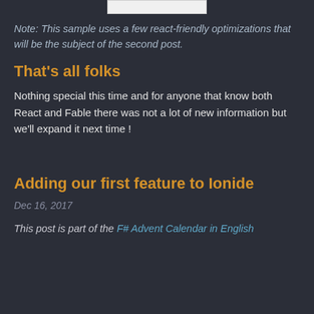[Figure (screenshot): Small image/logo bar at top center]
Note: This sample uses a few react-friendly optimizations that will be the subject of the second post.
That's all folks
Nothing special this time and for anyone that know both React and Fable there was not a lot of new information but we'll expand it next time !
Adding our first feature to Ionide
Dec 16, 2017
This post is part of the F# Advent Calendar in English